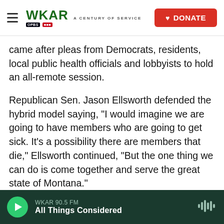WKAR A CENTURY OF SERVICE | DONATE
came after pleas from Democrats, residents, local public health officials and lobbyists to hold an all-remote session.
Republican Sen. Jason Ellsworth defended the hybrid model saying, "I would imagine we are going to have members who are going to get sick. It's a possibility there are members that die," Ellsworth continued, "But the one thing we can do is come together and serve the great state of Montana."
Utah
Republicans, the majority party in Utah, have taken
WKAR 90.5 FM — All Things Considered